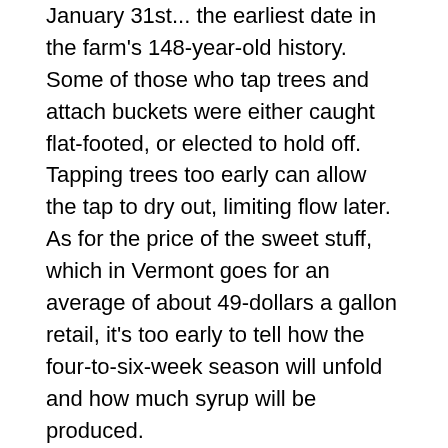January 31st... the earliest date in the farm's 148-year-old history.  Some of those who tap trees and attach buckets were either caught flat-footed, or elected to hold off.  Tapping trees too early can allow the tap to dry out, limiting flow later.  As for the price of the sweet stuff, which in Vermont goes for an average of about 49-dollars a gallon retail, it's too early to tell how the four-to-six-week season will unfold and how much syrup will be produced.
Pennsylvania Governor Tom Wolf will release his 2016-17 budget plan even as he fights to get his major priorities into this year's budget.  Major portions of the current budget plan by the first-term Democrat remain in limbo after a fight with the Republican-controlled Legislature.  Disagreements over school spending, taxes and Republican policy priorities could bleed into deliberations over a new budget.  The new budget year starts July 1st.  Wolf is the first governor in modern